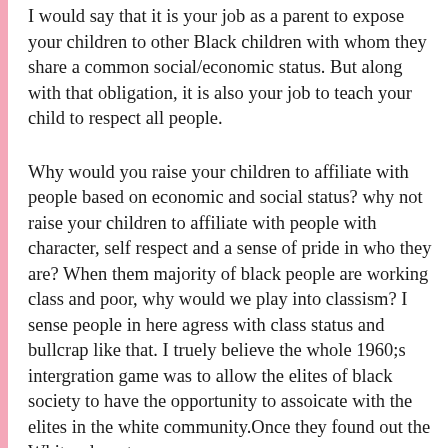I would say that it is your job as a parent to expose your children to other Black children with whom they share a common social/economic status. But along with that obligation, it is also your job to teach your child to respect all people.
Why would you raise your children to affiliate with people based on economic and social status? why not raise your children to affiliate with people with character, self respect and a sense of pride in who they are? When them majority of black people are working class and poor, why would we play into classism? I sense people in here agress with class status and bullcrap like that. I truely believe the whole 1960;s intergration game was to allow the elites of black society to have the opportunity to assoicate with the elites in the white community.Once they found out the Whites do not